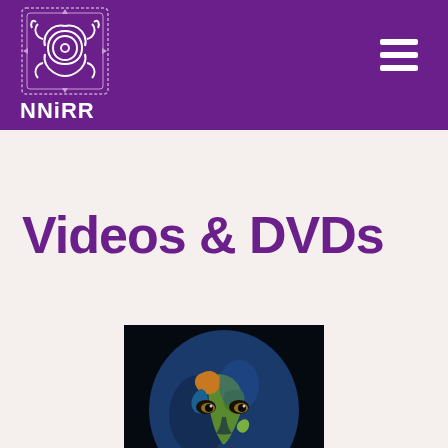NNiRR
Videos & DVDs
[Figure (photo): A person with their face painted as a globe/world map, with landmasses in greens, oranges, and browns visible on a blue face, against a dark background.]